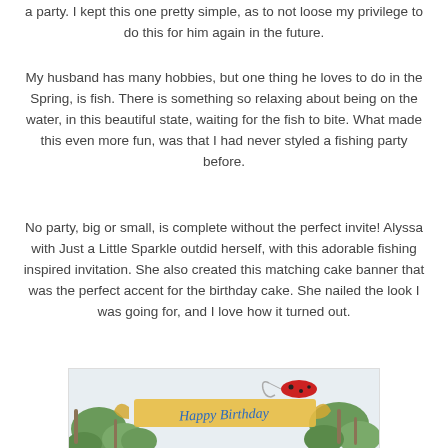a party. I kept this one pretty simple, as to not loose my privilege to do this for him again in the future.
My husband has many hobbies, but one thing he loves to do in the Spring, is fish. There is something so relaxing about being on the water, in this beautiful state, waiting for the fish to bite. What made this even more fun, was that I had never styled a fishing party before.
No party, big or small, is complete without the perfect invite! Alyssa with Just a Little Sparkle outdid herself, with this adorable fishing inspired invitation. She also created this matching cake banner that was the perfect accent for the birthday cake. She nailed the look I was going for, and I love how it turned out.
[Figure (photo): Photo of a Happy Birthday cake banner made of gold ribbon/paper with blue cursive text, surrounded by greenery and a red fishing lure with a hook on top.]